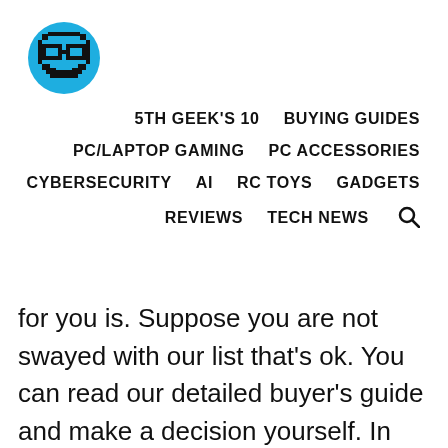[Figure (logo): Blue circle logo with pixel-art glasses icon for 5th Geek website]
5TH GEEK'S 10   BUYING GUIDES   PC/LAPTOP GAMING   PC ACCESSORIES   CYBERSECURITY   AI   RC TOYS   GADGETS   REVIEWS   TECH NEWS
for you is. Suppose you are not swayed with our list that's ok. You can read our detailed buyer's guide and make a decision yourself. In the end, it is up to you to make the final decision, but make sure to do some thorough research as there are